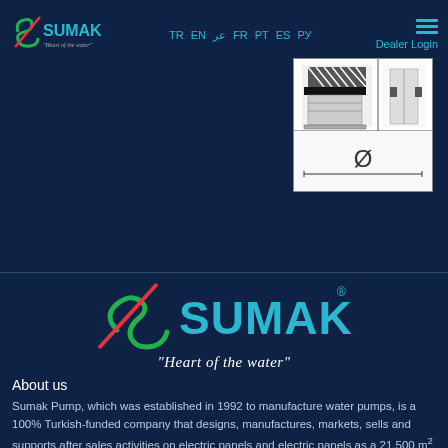TR EN عر FR PT ES PY Dealer Login
[Figure (engineering-diagram): Technical drawing/schematic of a pump component showing a cylindrical part with hatching at top, a cross-section view with internal detail, and a diameter symbol (Ø) at the bottom, rendered in black and white on a white background.]
[Figure (logo): SUMAK logo — large stylized S in green and red with a diagonal slash, followed by SUMAK in bold cyan/blue text, with registered trademark symbol, and the tagline 'Heart of the water' in white cursive below.]
About us
Sumak Pump, which was established in 1992 to manufacture water pumps, is a 100% Turkish-funded company that designs, manufactures, markets, sells and supports after sales activities on electric panels and electric panels as a 21.500 m² closed area water pumps and motors when it is day. In addition, SUMAK PUMP A.Ş. has